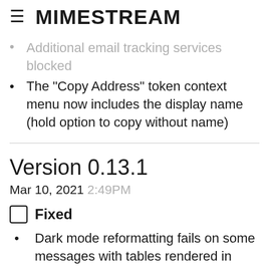MIMESTREAM
action on Big Sur to avoid the options menu (faded/partial)
Additional email tracking services blocked (faded/partial)
The "Copy Address" token context menu now includes the display name (hold option to copy without name)
Version 0.13.1
Mar 10, 2021 2:49PM
🔲 Fixed
Dark mode reformatting fails on some messages with tables rendered in quirks mode
Window size is not restored after zooming (work around an AppKit regression)
Drafts sent within a few seconds of...